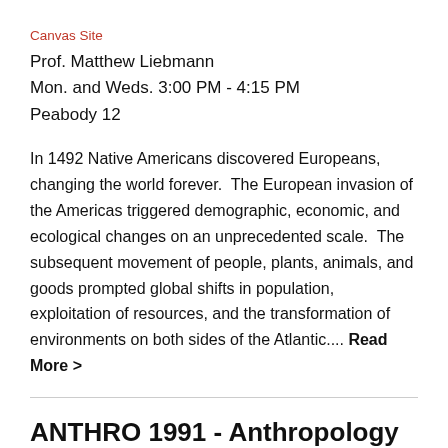Canvas Site
Prof. Matthew Liebmann
Mon. and Weds. 3:00 PM - 4:15 PM
Peabody 12
In 1492 Native Americans discovered Europeans, changing the world forever. The European invasion of the Americas triggered demographic, economic, and ecological changes on an unprecedented scale. The subsequent movement of people, plants, animals, and goods prompted global shifts in population, exploitation of resources, and the transformation of environments on both sides of the Atlantic.... Read More >
ANTHRO 1991 - Anthropology of the Future